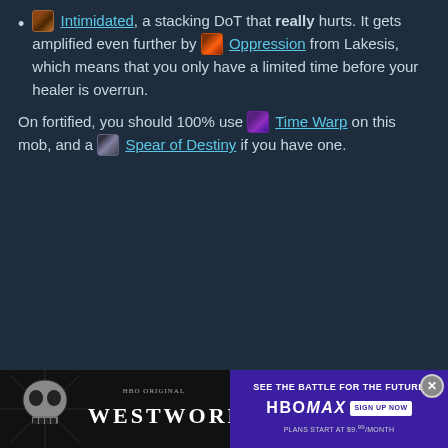Intimidated, a stacking DoT that really hurts. It gets amplified even further by Oppression from Lakesis, which means that you only have a limited time before your healer is overrun.
On fortified, you should 100% use Time Warp on this mob, and a Spear of Destiny if you have one.
[Figure (photo): Advertisement banner for HBO Max Westworld TV series at the bottom of the page. Left side shows a skull with spider web and 'WESTWORLD' text in large letters with 'HBO Original' above. Right side on purple background reads 'SEE THE BATTLE FOR THE FUTURE' with HBO Max logo and 'SIGN UP NOW' button, 'PLANS START AT $9.99/MONTH' text below.]